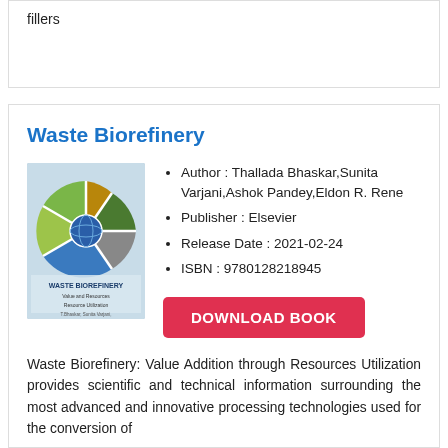fillers
Waste Biorefinery
[Figure (illustration): Book cover of Waste Biorefinery showing a circular diagram with sections of different waste/biomass types including green plants, soil, water, and other resources, with a globe in the center. Title text 'WASTE BIOREFINERY' appears at the bottom of the circular image.]
Author : Thallada Bhaskar,Sunita Varjani,Ashok Pandey,Eldon R. Rene
Publisher : Elsevier
Release Date : 2021-02-24
ISBN : 9780128218945
DOWNLOAD BOOK
Waste Biorefinery: Value Addition through Resources Utilization provides scientific and technical information surrounding the most advanced and innovative processing technologies used for the conversion of